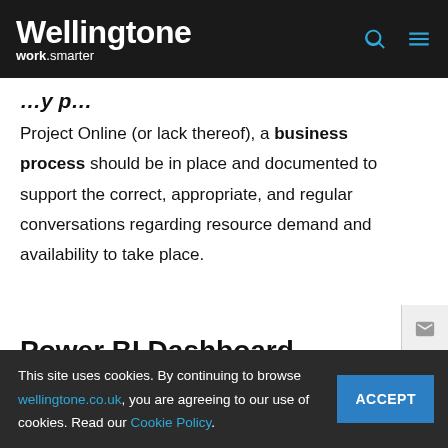Wellingtone work.smarter
Project Online (or lack thereof), a business process should be in place and documented to support the correct, appropriate, and regular conversations regarding resource demand and availability to take place.
Power BI Dashboard Reports
This site uses cookies. By continuing to browse wellingtone.co.uk, you are agreeing to our use of cookies. Read our Cookie Policy.